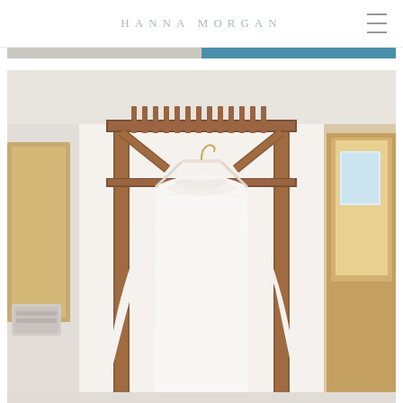HANNA MORGAN
[Figure (photo): Top strip showing partial photos — left side light gray/beige tones, right side with blue accent]
[Figure (photo): Wedding dress hanging on a white hanger from a wooden pergola/rack structure inside a bright room with wooden doors and walls. The white lace gown hangs prominently in the center.]